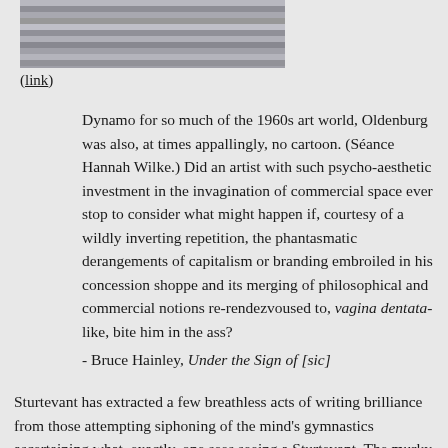[Figure (photo): Cropped image of a wooden or textured grey surface, likely the bottom portion of an artwork.]
(link)
Dynamo for so much of the 1960s art world, Oldenburg was also, at times appallingly, no cartoon. (Séance Hannah Wilke.) Did an artist with such psycho-aesthetic investment in the invagination of commercial space ever stop to consider what might happen if, courtesy of a wildly inverting repetition, the phantasmatic derangements of capitalism or branding embroiled in his concession shoppe and its merging of philosophical and commercial notions re-rendezvoused to, vagina dentata-like, bite him in the ass?
- Bruce Hainley, Under the Sign of [sic]
Sturtevant has extracted a few breathless acts of writing brilliance from those attempting siphoning of the mind's gymnastics ascertaining what, exactly, one sees seeing a Sturtevant. The murky dilute comedy of painting above as example. What one would wish for, seeing above, attempting analysis of a Sturtevant, is into